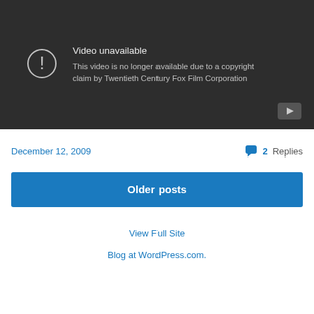[Figure (screenshot): YouTube video unavailable error message on dark background. Shows a circle with exclamation mark icon, text 'Video unavailable' and 'This video is no longer available due to a copyright claim by Twentieth Century Fox Film Corporation'. YouTube play button in bottom right corner.]
December 12, 2009
2 Replies
Older posts
View Full Site
Blog at WordPress.com.